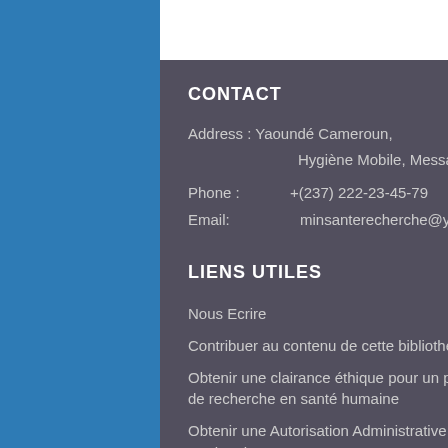CONTACT
Address : Yaoundé Cameroun,
                    Hygiène Mobile, Messa
Phone :   +(237) 222-23-45-79
Email:       minsanterecherche@yahoo.fr
LIENS UTILES
Nous Ecrire
Contribuer au contenu de cette bibliothèque
Obtenir une clairance éthique pour un projet de recherche en santé humaine
Obtenir une Autorisation Administrative de Recherche